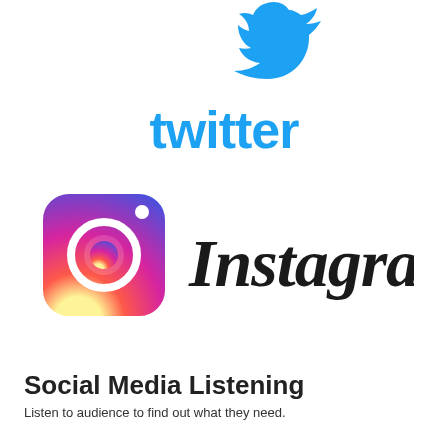[Figure (logo): Twitter logo: blue bird icon above the word 'twitter' in blue rounded font]
[Figure (logo): Instagram logo: gradient square icon with camera outline beside the word 'Instagram' in dark script font]
Social Media Listening
Listen to audience to find out what they need.